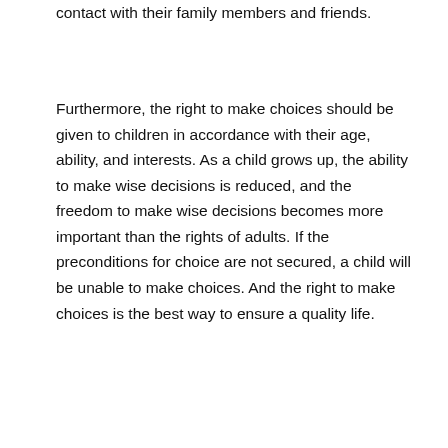contact with their family members and friends.
Furthermore, the right to make choices should be given to children in accordance with their age, ability, and interests. As a child grows up, the ability to make wise decisions is reduced, and the freedom to make wise decisions becomes more important than the rights of adults. If the preconditions for choice are not secured, a child will be unable to make choices. And the right to make choices is the best way to ensure a quality life.